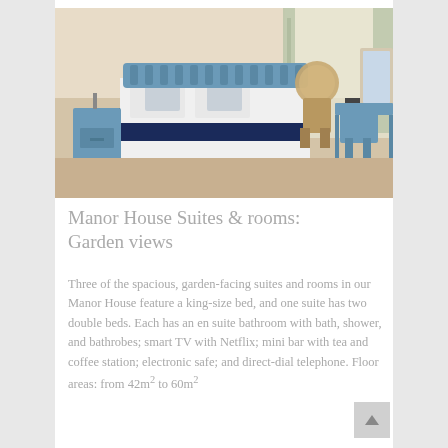[Figure (photo): Hotel bedroom with blue upholstered headboard, white bedding with navy accent, wicker chair by curtained window, blue desk and chair on right side, beige carpet throughout.]
Manor House Suites & rooms: Garden views
Three of the spacious, garden-facing suites and rooms in our Manor House feature a king-size bed, and one suite has two double beds. Each has an en suite bathroom with bath, shower, and bathrobes; smart TV with Netflix; mini bar with tea and coffee station; electronic safe; and direct-dial telephone. Floor areas: from 42m² to 60m²